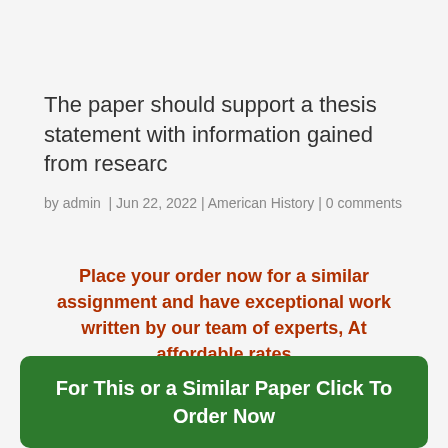The paper should support a thesis statement with information gained from researc
by admin  |  Jun 22, 2022  |  American History  |  0 comments
Place your order now for a similar assignment and have exceptional work written by our team of experts, At affordable rates
For This or a Similar Paper Click To Order Now